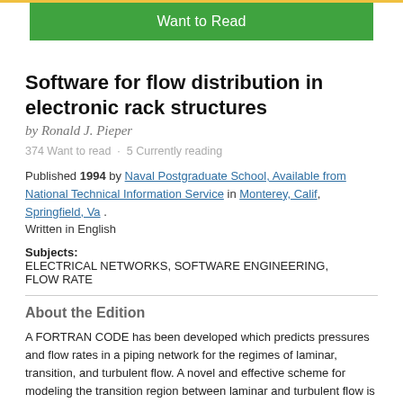[Figure (screenshot): Green 'Want to Read' button at the top of a book listing page]
Software for flow distribution in electronic rack structures
by Ronald J. Pieper
374 Want to read · 5 Currently reading
Published 1994 by Naval Postgraduate School, Available from National Technical Information Service in Monterey, Calif, Springfield, Va . Written in English
Subjects: ELECTRICAL NETWORKS, SOFTWARE ENGINEERING, FLOW RATE
About the Edition
A FORTRAN CODE has been developed which predicts pressures and flow rates in a piping network for the regimes of laminar, transition, and turbulent flow. A novel and effective scheme for modeling the transition region between laminar and turbulent flow is demonstrated. A proposed linear indicator for the deviation from